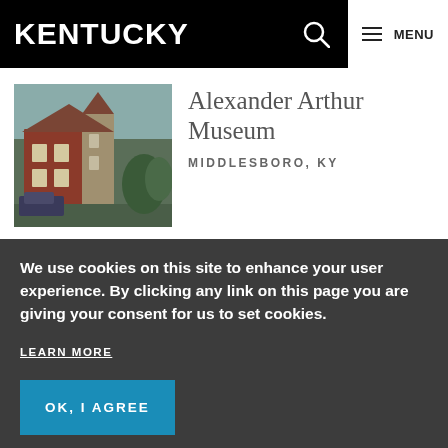KENTUCKY  MENU
[Figure (photo): Photo of Alexander Arthur Museum building — a red brick and stone historic building with towers]
Alexander Arthur Museum
MIDDLESBORO, KY
We use cookies on this site to enhance your user experience. By clicking any link on this page you are giving your consent for us to set cookies.
LEARN MORE
OK, I AGREE